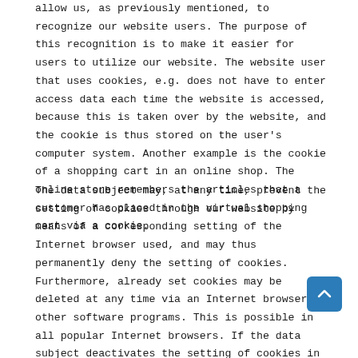allow us, as previously mentioned, to recognize our website users. The purpose of this recognition is to make it easier for users to utilize our website. The website user that uses cookies, e.g. does not have to enter access data each time the website is accessed, because this is taken over by the website, and the cookie is thus stored on the user's computer system. Another example is the cookie of a shopping cart in an online shop. The online store remembers the articles that a customer has placed in the virtual shopping cart via a cookie.
The data subject may, at any time, prevent the setting of cookies through our website by means of a corresponding setting of the Internet browser used, and may thus permanently deny the setting of cookies. Furthermore, already set cookies may be deleted at any time via an Internet browser or other software programs. This is possible in all popular Internet browsers. If the data subject deactivates the setting of cookies in the Internet browser, not all functions of our website may be